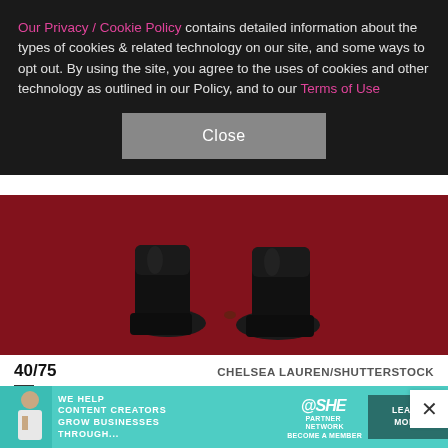Our Privacy / Cookie Policy contains detailed information about the types of cookies & related technology on our site, and some ways to opt out. By using the site, you agree to the uses of cookies and other technology as outlined in our Policy, and to our Terms of Use
[Figure (photo): Close-up of black boots/shoes on a dark red carpet (Academy Awards red carpet), photo cropped to show feet and ankles only]
40/75   CHELSEA LAUREN/SHUTTERSTOCK
Um, Riz Ahmed, are you aware that you're at the Academy Awards? The actor arrived in this baggy dark brown suit paired with a black shirt and boots for an
[Figure (photo): Advertisement banner: SHE Media Partner Network - We help content creators grow businesses through... Learn More]